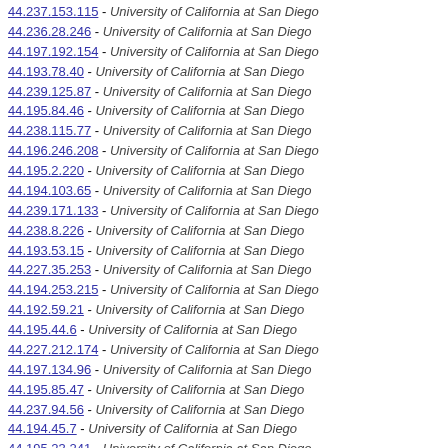44.237.153.115 - University of California at San Diego
44.236.28.246 - University of California at San Diego
44.197.192.154 - University of California at San Diego
44.193.78.40 - University of California at San Diego
44.239.125.87 - University of California at San Diego
44.195.84.46 - University of California at San Diego
44.238.115.77 - University of California at San Diego
44.196.246.208 - University of California at San Diego
44.195.2.220 - University of California at San Diego
44.194.103.65 - University of California at San Diego
44.239.171.133 - University of California at San Diego
44.238.8.226 - University of California at San Diego
44.193.53.15 - University of California at San Diego
44.227.35.253 - University of California at San Diego
44.194.253.215 - University of California at San Diego
44.192.59.21 - University of California at San Diego
44.195.44.6 - University of California at San Diego
44.227.212.174 - University of California at San Diego
44.197.134.96 - University of California at San Diego
44.195.85.47 - University of California at San Diego
44.237.94.56 - University of California at San Diego
44.194.45.7 - University of California at San Diego
44.195.23.241 - University of California at San Diego
44.196.197.159 - University of California at San Diego
44.224.242.204 - University of California at San Diego
44.224.36.254 - University of California at San Diego
44.196.234.196 - University of California at San Diego
44.192.22.240 - University of California at San Diego
44.195.198.160 - University of California at San Diego
44.197.19.237 - University of California at San Diego